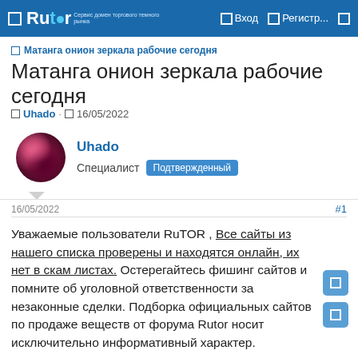Rutor — Вход — Регистр...
Матанга онион зеркала рабочие сегодня
Матанга онион зеркала рабочие сегодня
Uhado · 16/05/2022
Uhado
Специалист Подтвержденный
16/05/2022
#1
Уважаемые пользователи RuTOR , Все сайты из нашего списка проверены и находятся онлайн, их нет в скам листах. Остерегайтесь фишинг сайтов и помните об уголовной ответственности за незаконные сделки. Подборка официальных сайтов по продаже веществ от форума Rutor носит исключительно информативный характер.